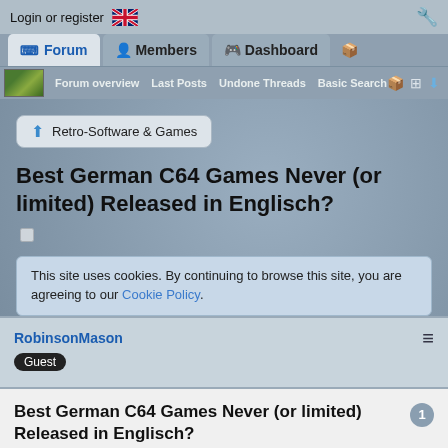Login or register
Forum | Members | Dashboard
Forum overview | Last Posts | Undone Threads | Basic Search
Retro-Software & Games
Best German C64 Games Never (or limited) Released in Englisch?
This site uses cookies. By continuing to browse this site, you are agreeing to our Cookie Policy.
RobinsonMason
Guest
Best German C64 Games Never (or limited) Released in Englisch?